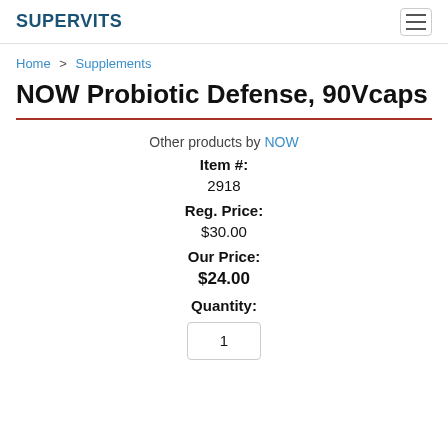SUPERVITS
Home > Supplements
NOW Probiotic Defense, 90Vcaps
Other products by NOW
Item #:
2918
Reg. Price:
$30.00
Our Price:
$24.00
Quantity:
1